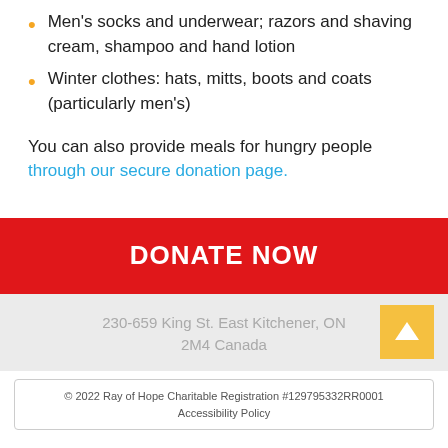Men's socks and underwear; razors and shaving cream, shampoo and hand lotion
Winter clothes: hats, mitts, boots and coats (particularly men's)
You can also provide meals for hungry people through our secure donation page.
DONATE NOW
230-659 King St. East Kitchener, ON 2M4 Canada
© 2022 Ray of Hope Charitable Registration #129795332RR0001
Accessibility Policy